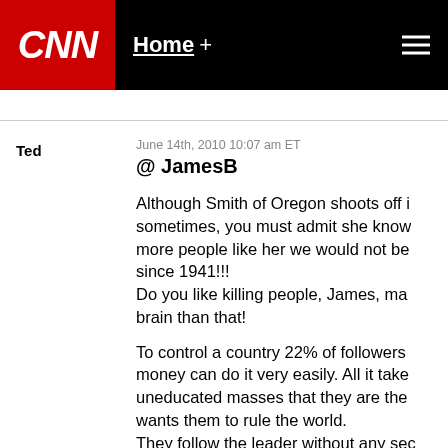CNN | Home +
Ted
June 14th, 2010 10:07 am ET
@ JamesB
Although Smith of Oregon shoots off i sometimes, you must admit she know more people like her we would not be since 1941!!!
Do you like killing people, James, ma brain than that!
To control a country 22% of followers money can do it very easily. All it take uneducated masses that they are the wants them to rule the world.
They follow the leader without any sec all, we are the greatest, or not? Take t Bush, who talked to God on a daily ba